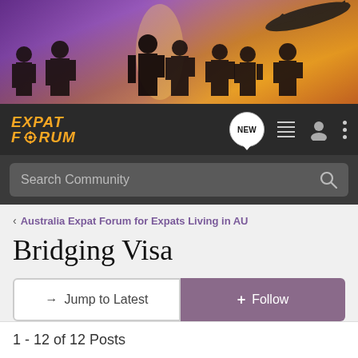[Figure (photo): Banner image showing business professional silhouettes against a purple and golden world map background with an airplane in the upper right]
[Figure (logo): Expat Forum logo in yellow/orange italic bold text with a gear icon, on dark background. Navigation icons: NEW speech bubble, list icon, user icon, dots menu icon]
Search Community
< Australia Expat Forum for Expats Living in AU
Bridging Visa
→ Jump to Latest
+ Follow
1 - 12 of 12 Posts
pulikali · Registered
Joined Jul 9, 2013 · 70 Posts